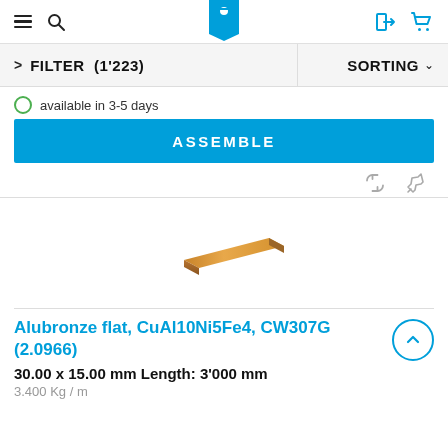Navigation bar with menu, search, logo, login, and cart icons
FILTER (1'223)
SORTING
available in 3-5 days
ASSEMBLE
[Figure (photo): Alubronze flat bar product image — a bronze/copper-colored flat rectangular bar shown at an angle]
Alubronze flat, CuAl10Ni5Fe4, CW307G (2.0966)
30.00 x 15.00 mm Length: 3'000 mm
3.400 Kg / m